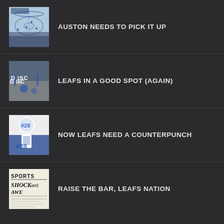AUSTON NEEDS TO PICK IT UP
LEAFS IN A GOOD SPOT (AGAIN)
NOW LEAFS NEED A COUNTERPUNCH
RAISE THE BAR, LEAFS NATION